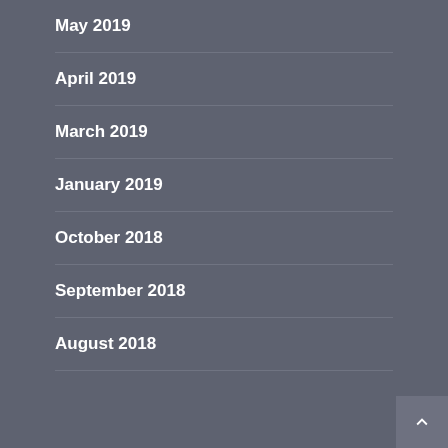May 2019
April 2019
March 2019
January 2019
October 2018
September 2018
August 2018